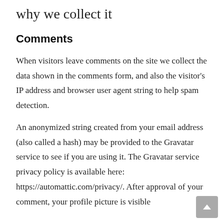why we collect it
Comments
When visitors leave comments on the site we collect the data shown in the comments form, and also the visitor's IP address and browser user agent string to help spam detection.
An anonymized string created from your email address (also called a hash) may be provided to the Gravatar service to see if you are using it. The Gravatar service privacy policy is available here: https://automattic.com/privacy/. After approval of your comment, your profile picture is visible